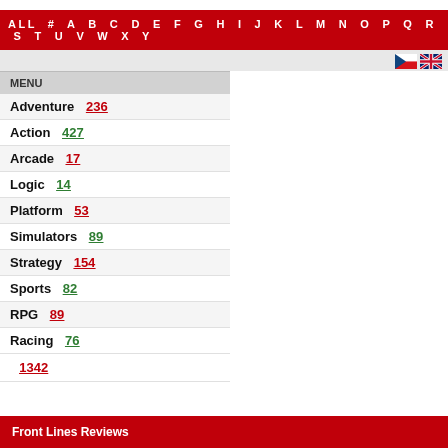ALL # A B C D E F G H I J K L M N O P Q R S T U V W X Y
MENU
Adventure 236
Action 427
Arcade 17
Logic 14
Platform 53
Simulators 89
Strategy 154
Sports 82
RPG 89
Racing 76
1342
Front Lines Reviews